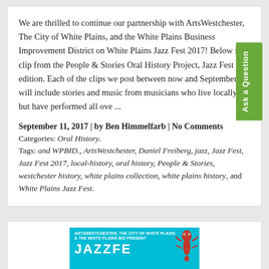We are thrilled to continue our partnership with ArtsWestchester, The City of White Plains, and the White Plains Business Improvement District on White Plains Jazz Fest 2017! Below is a clip from the People & Stories Oral History Project, Jazz Fest edition. Each of the clips we post between now and September will include stories and music from musicians who live locally, but have performed all ove ...
September 11, 2017 | by Ben Himmelfarb | No Comments
Categories: Oral History.
Tags: and WPBID., ArtsWestchester, Daniel Freiberg, jazz, Jazz Fest, Jazz Fest 2017, local-history, oral history, People & Stories, westchester history, white plains collection, white plains history, and White Plains Jazz Fest.
[Figure (other): Bottom card showing a teal/cyan colored event banner with text 'ARTSWESTCHESTER, THE CITY OF WHITE PLAINS & THE WHITE PLAINS BID PRESENT' and large letters below, with a gecko/lizard illustration on the right side.]